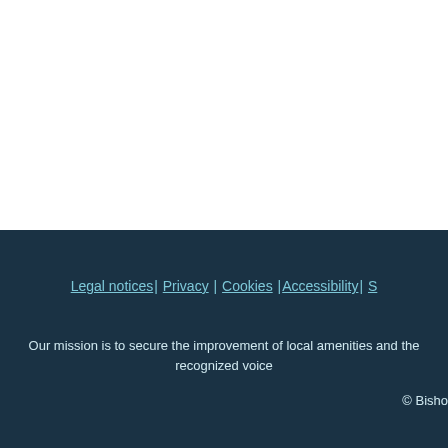Legal notices | Privacy | Cookies | Accessibility | S
Our mission is to secure the improvement of local amenities and the recognized voice
© Bisho